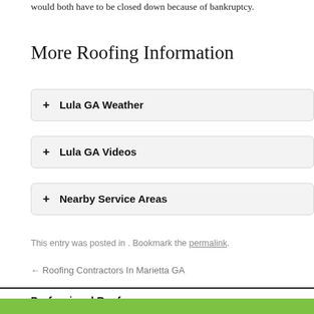would both have to be closed down because of bankruptcy.
More Roofing Information
+ Lula GA Weather
+ Lula GA Videos
+ Nearby Service Areas
This entry was posted in . Bookmark the permalink.
← Roofing Contractors In Marietta GA
Professional Roofers